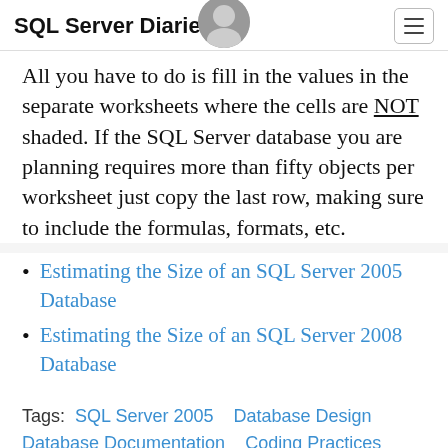SQL Server Diaries
All you have to do is fill in the values in the separate worksheets where the cells are NOT shaded. If the SQL Server database you are planning requires more than fifty objects per worksheet just copy the last row, making sure to include the formulas, formats, etc.
Estimating the Size of an SQL Server 2005 Database
Estimating the Size of an SQL Server 2008 Database
Tags:  SQL Server 2005   Database Design   Database Documentation   Coding Practices   SQL Server 2008